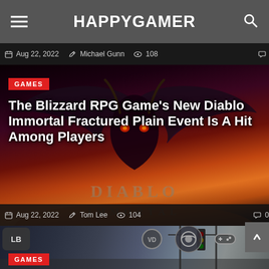HAPPYGAMER
Aug 22, 2022  Michael Gunn  108  0
[Figure (photo): Diablo Immortal game art showing a dark dragon/demon with glowing orange eyes against a fiery background with the Diablo Immortal logo]
GAMES
The Blizzard RPG Game's New Diablo Immortal Fractured Plain Event Is A Hit Among Players
Aug 22, 2022  Tom Lee  104  0
[Figure (screenshot): GTA game screenshot showing an urban street scene with traffic lights and buildings, overlaid with gaming platform icons (Steam, LB, RB)]
GAMES
According To The Original GTA Creator, Rockstar Marked His...